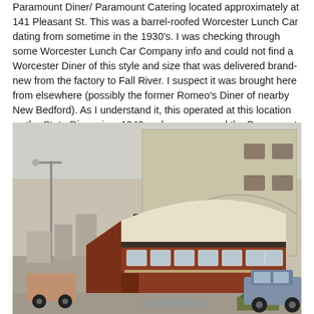Paramount Diner/ Paramount Catering located approximately at 141 Pleasant St. This was a barrel-roofed Worcester Lunch Car dating from sometime in the 1930's. I was checking through some Worcester Lunch Car Company info and could not find a Worcester Diner of this style and size that was delivered brand-new from the factory to Fall River. I suspect it was brought here from elsewhere (possibly the former Romeo's Diner of nearby New Bedford). As I understand it, this operated at this location as the State Diner circa 1940 and was renamed the Paramount Diner later.
[Figure (photo): Exterior photograph of the Paramount Diner, a barrel-roofed Worcester Lunch Car with red/brown lower panels and a row of windows along the side. A large beige/tan building looms behind it. A van is parked on the left, a car on the right, and the foreground shows a gravel/dirt lot.]